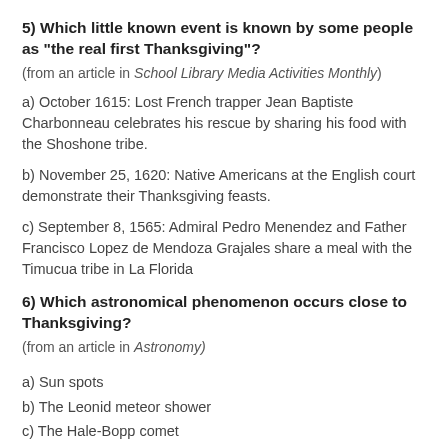5) Which little known event is known by some people as "the real first Thanksgiving"?
(from an article in School Library Media Activities Monthly)
a) October 1615: Lost French trapper Jean Baptiste Charbonneau celebrates his rescue by sharing his food with the Shoshone tribe.
b) November 25, 1620: Native Americans at the English court demonstrate their Thanksgiving feasts.
c) September 8, 1565: Admiral Pedro Menendez and Father Francisco Lopez de Mendoza Grajales share a meal with the Timucua tribe in La Florida
6) Which astronomical phenomenon occurs close to Thanksgiving?
(from an article in Astronomy)
a) Sun spots
b) The Leonid meteor shower
c) The Hale-Bopp comet